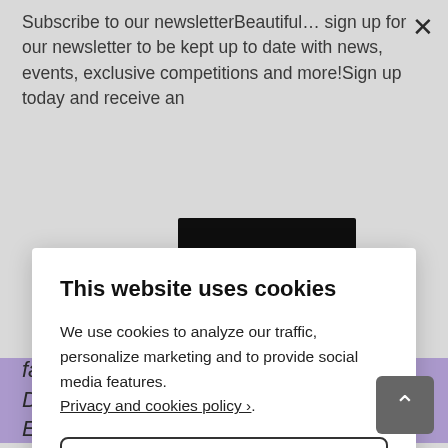Subscribe to our newsletterBeautiful… sign up for our newsletter to be kept up to date with news, events, exclusive competitions and more!Sign up today and receive an
[Figure (screenshot): Cookie consent modal dialog with title 'This website uses cookies', privacy policy link, 'Only Necessary' and 'Allow All Cookies' buttons, and 'Configure Settings' link]
fabulous makeup artists... Our very own Denise Rabor and our Wow Beauty Expert Nadira V